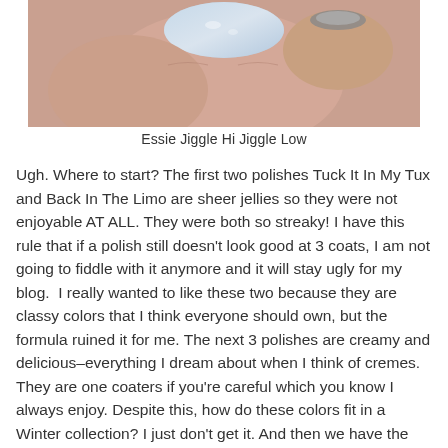[Figure (photo): Close-up photo of a hand with painted nails, showing a shimmery/glittery nail polish, with a ring visible in the background.]
Essie Jiggle Hi Jiggle Low
Ugh. Where to start? The first two polishes Tuck It In My Tux and Back In The Limo are sheer jellies so they were not enjoyable AT ALL. They were both so streaky! I have this rule that if a polish still doesn't look good at 3 coats, I am not going to fiddle with it anymore and it will stay ugly for my blog.  I really wanted to like these two because they are classy colors that I think everyone should own, but the formula ruined it for me. The next 3 polishes are creamy and delicious–everything I dream about when I think of cremes. They are one coaters if you're careful which you know I always enjoy. Despite this, how do these colors fit in a Winter collection? I just don't get it. And then we have the gold/silver foil. No, just no. This collection was just a big no for me so I've put it up on